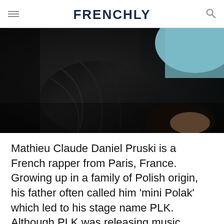FRENCHLY
[Figure (photo): Close-up photo of a person wearing a black leather jacket against a light blue background. The textured leather fills most of the frame.]
Mathieu Claude Daniel Pruski is a French rapper from Paris, France. Growing up in a family of Polish origin, his father often called him 'mini Polak' which led to his stage name PLK. Although PLK was releasing music throughout the 2010s, the